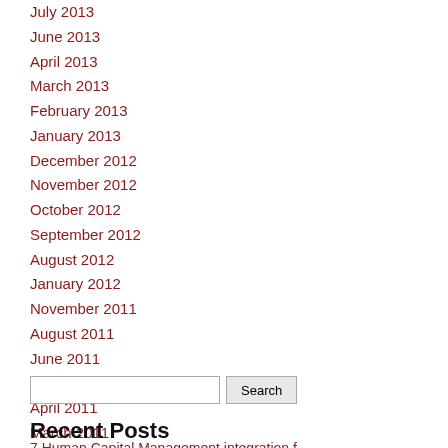July 2013
June 2013
April 2013
March 2013
February 2013
January 2013
December 2012
November 2012
October 2012
September 2012
August 2012
January 2012
November 2011
August 2011
June 2011
May 2011
April 2011
March 2011
Recent Posts
7 Human Capital Management...